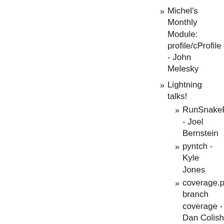Michel's Monthly Module: profile/cProfile - John Melesky
Lightning talks!
RunSnakeRun - Joel Bernstein
pyntch - Kyle Jones
coverage.py branch coverage - Dan Colish
repoze.profile - Adam Lowry
pytestlogger - Jeff Schwaber
Xapian and xodb - Michel Pelletier
Pizza sponsored by